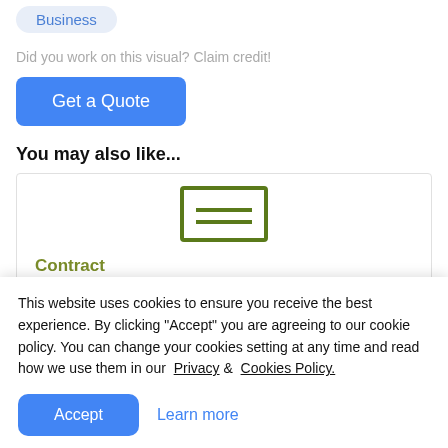Business
Did you work on this visual? Claim credit!
Get a Quote
You may also like...
[Figure (illustration): A green outlined rectangle icon representing a contract document, with two horizontal green lines inside suggesting text lines.]
Contract
This website uses cookies to ensure you receive the best experience. By clicking "Accept" you are agreeing to our cookie policy. You can change your cookies setting at any time and read how we use them in our Privacy & Cookies Policy.
Accept
Learn more